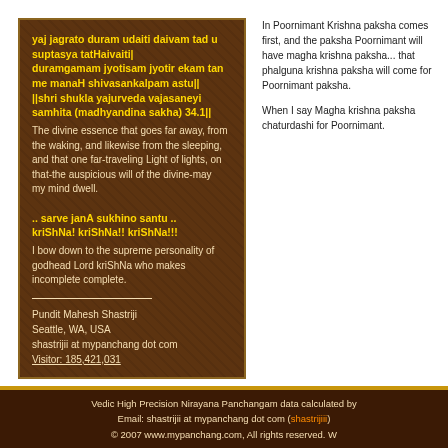yaj jagrato duram udaiti daivam tad u suptasya tatHaivaiti| duramgamam jyotisam jyotir ekam tan me manaH shivasankalpam astu|| ||shri shukla yajurveda vajasaneyi samhita (madhyandina sakha) 34.1|| The divine essence that goes far away, from the waking, and likewise from the sleeping, and that one far-traveling Light of lights, on that-the auspicious will of the divine-may my mind dwell.
.. sarve janA sukhino santu .. kriShNa! kriShNa!! kriShNa!!! I bow down to the supreme personality of godhead Lord kriShNa who makes incomplete complete.
Pundit Mahesh Shastriji
Seattle, WA, USA
shastrijii at mypanchang dot com
Visitor: 185,421,031
In Poornimant Krishna paksha comes first, and then paksha Poornimant will have magha krishna paksha... that phalguna krishna paksha will come for Poornimant paksha.
When I say Magha krishna paksha chaturdashi for Poornimant.
Vedic High Precision Nirayana Panchangam data calculated b... Email: shastrijii at mypanchang dot com (shastrijii...) © 2007 www.mypanchang.com, All rights reserved. W...